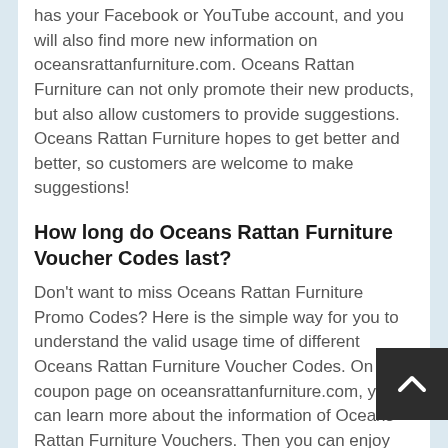has your Facebook or YouTube account, and you will also find more new information on oceansrattanfurniture.com. Oceans Rattan Furniture can not only promote their new products, but also allow customers to provide suggestions. Oceans Rattan Furniture hopes to get better and better, so customers are welcome to make suggestions!
How long do Oceans Rattan Furniture Voucher Codes last?
Don't want to miss Oceans Rattan Furniture Promo Codes? Here is the simple way for you to understand the valid usage time of different Oceans Rattan Furniture Voucher Codes. On the coupon page on oceansrattanfurniture.com, you can learn more about the information of Oceans Rattan Furniture Vouchers. Then you can enjoy 73% discounts at the checkout.